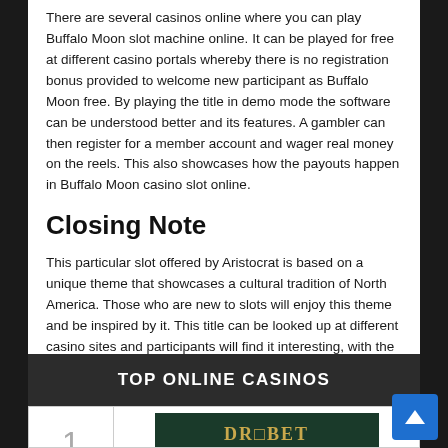There are several casinos online where you can play Buffalo Moon slot machine online. It can be played for free at different casino portals whereby there is no registration bonus provided to welcome new participant as Buffalo Moon free. By playing the title in demo mode the software can be understood better and its features. A gambler can then register for a member account and wager real money on the reels. This also showcases how the payouts happen in Buffalo Moon casino slot online.
Closing Note
This particular slot offered by Aristocrat is based on a unique theme that showcases a cultural tradition of North America. Those who are new to slots will enjoy this theme and be inspired by it. This title can be looked up at different casino sites and participants will find it interesting, with the unique feature to discover and payouts that are lucrative. Unfortunately, RTP is not known for this game
TOP ONLINE CASINOS
| # | Casino | Logo |
| --- | --- | --- |
| 1 |  | DROPBET logo |